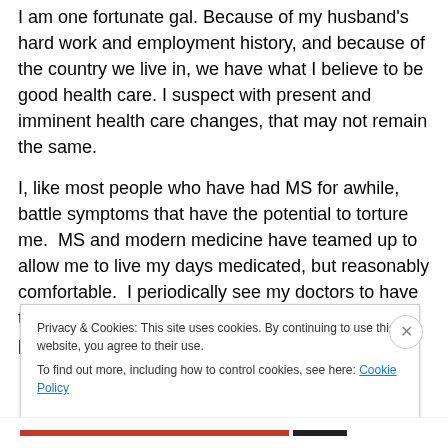I am one fortunate gal. Because of my husband's hard work and employment history, and because of the country we live in, we have what I believe to be good health care. I suspect with present and imminent health care changes, that may not remain the same.
I, like most people who have had MS for awhile, battle symptoms that have the potential to torture me. MS and modern medicine have teamed up to allow me to live my days medicated, but reasonably comfortable. I periodically see my doctors to have the requisite appointment, blood work and get prescriptions
Privacy & Cookies: This site uses cookies. By continuing to use this website, you agree to their use.
To find out more, including how to control cookies, see here: Cookie Policy